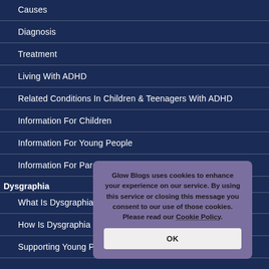Causes
Diagnosis
Treatment
Living With ADHD
Related Conditions In Children & Teenagers With ADHD
Information For Children
Information For Young People
Information For Parents
Dysgraphia
What Is Dysgraphia?
How Is Dysgraphia Identified?
Supporting Young People With Dysgraphia
Glow Blogs uses cookies to enhance your experience on our service. By using this service or closing this message you consent to our use of those cookies. Please read our Cookie Policy.